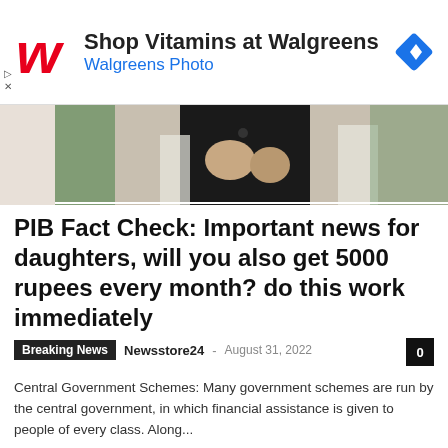[Figure (screenshot): Walgreens advertisement banner with red Walgreens W logo, text 'Shop Vitamins at Walgreens' and 'Walgreens Photo', and a blue navigation diamond icon on the right]
[Figure (photo): Partial photo showing a person in a black vest with hands visible, likely a government official against a green background]
PIB Fact Check: Important news for daughters, will you also get 5000 rupees every month? do this work immediately
Breaking News   Newsstore24 - August 31, 2022   0
Central Government Schemes: Many government schemes are run by the central government, in which financial assistance is given to people of every class. Along...
Read more